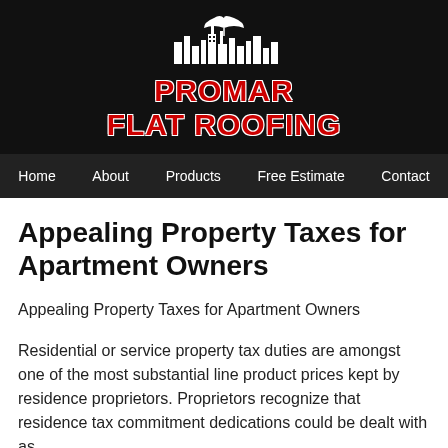[Figure (logo): Promar Flat Roofing logo: city skyline silhouette with umbrella above, white on black background, with red bold text PROMAR FLAT ROOFING]
Home   About   Products   Free Estimate   Contact
Appealing Property Taxes for Apartment Owners
Appealing Property Taxes for Apartment Owners
Residential or service property tax duties are amongst one of the most substantial line product prices kept by residence proprietors. Proprietors recognize that residence tax commitment dedications could be dealt with as